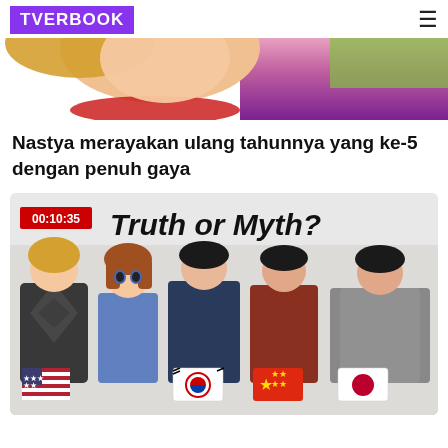TVERBOOK
[Figure (photo): Partial photo of a child with blonde hair and red bead necklace against a purple/pink background]
Nastya merayakan ulang tahunnya yang ke-5 dengan penuh gaya
[Figure (screenshot): Video thumbnail showing 'Truth or Myth?' with timestamp 00:10:35, featuring five women sitting - one Western, one anime character overlay, three Asian women with US, South Korea, China, and Japan flags]